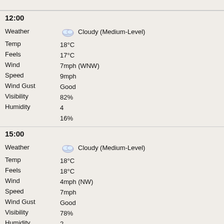12:00
| Label | Value |
| --- | --- |
| Weather | Cloudy (Medium-Level) |
| Temp | 18°C |
| Feels | 17°C |
| Wind | 7mph (WNW) |
| Speed | 9mph |
| Wind Gust | Good |
| Visibility | 82% |
| Humidity | 4 |
|  | 16% |
15:00
| Label | Value |
| --- | --- |
| Weather | Cloudy (Medium-Level) |
| Temp | 18°C |
| Feels | 18°C |
| Wind | 4mph (NW) |
| Speed | 7mph |
| Wind Gust | Good |
| Visibility | 78% |
| Humidity | 2 |
|  | 18% |
18:00
| Label | Value |
| --- | --- |
| Weather | Light rain |
| Temp | 18°C |
| Feels | 18°C |